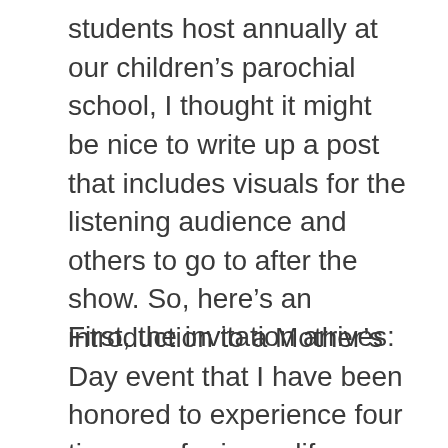students host annually at our children's parochial school, I thought it might be nice to write up a post that includes visuals for the listening audience and others to go to after the show. So, here's an introduction to a Mother's Day event that I have been honored to experience four times so far in my life as a mother. I wouldn't miss it for the world!
First, the invitation arrives: